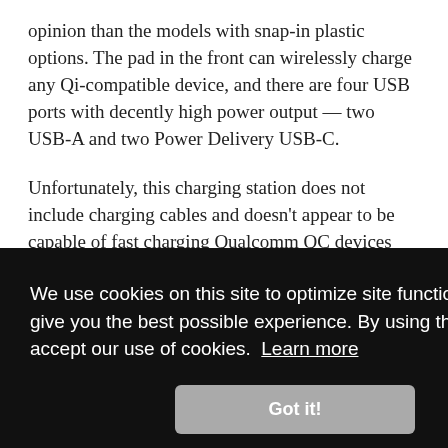opinion than the models with snap-in plastic options. The pad in the front can wirelessly charge any Qi-compatible device, and there are four USB ports with decently high power output — two USB-A and two Power Delivery USB-C.
Unfortunately, this charging station does not include charging cables and doesn't appear to be capable of fast charging Qualcomm QC devices with the USB-A ports. This station also is limited to just the four wired devices
We use cookies on this site to optimize site functionality and give you the best possible experience. By using this site, you accept our use of cookies. Learn more
Got it!
This station can charge four corded devices and one wireless